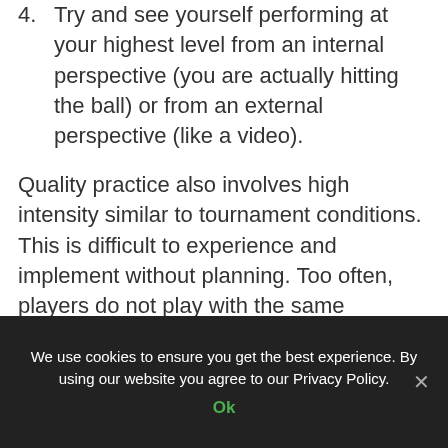4. Try and see yourself performing at your highest level from an internal perspective (you are actually hitting the ball) or from an external perspective (like a video).
Quality practice also involves high intensity similar to tournament conditions. This is difficult to experience and implement without planning. Too often, players do not play with the same intensity in practice as they do in tournaments. This slows down skill development. Therefore, players and coaches should use incentives and pressure situations and build them into the practice. Walking
We use cookies to ensure you get the best experience. By using our website you agree to our Privacy Policy.
Ok